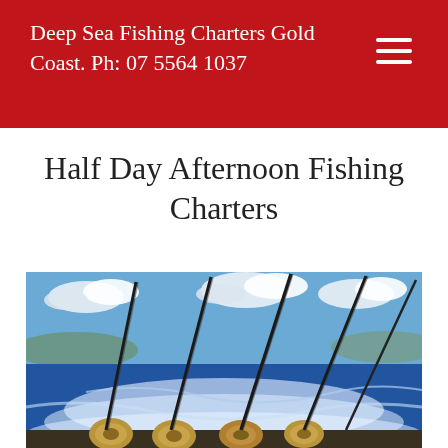Deep Sea Fishing Charters Gold Coast. Ph: 07 5564 1037
Half Day Afternoon Fishing Charters
[Figure (photo): Multiple deep sea fishing rods with large reels mounted on the back of a fast-moving boat, with ocean waves and blue sky with clouds in the background.]